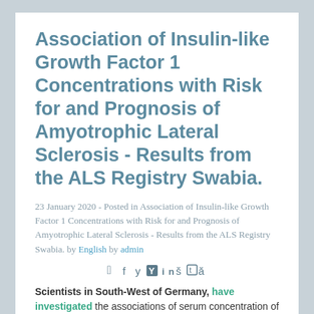Association of Insulin-like Growth Factor 1 Concentrations with Risk for and Prognosis of Amyotrophic Lateral Sclerosis - Results from the ALS Registry Swabia.
23 January 2020 - Posted in Association of Insulin-like Growth Factor 1 Concentrations with Risk for and Prognosis of Amyotrophic Lateral Sclerosis - Results from the ALS Registry Swabia. by English by admin
[Figure (other): Social media sharing icons: Facebook, Twitter, Hacker News (Y), LinkedIn, Reddit, Tumblr, Weibo]
Scientists in South-West of Germany, have investigated the associations of serum concentration of insulin-like growth factor 1 (IGF1) with prognosis of ALS in their region ALS